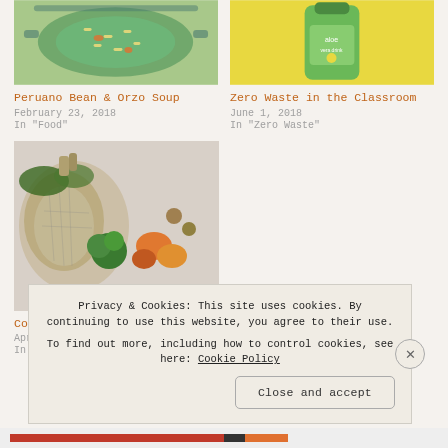[Figure (photo): Top-down view of a pot of green soup with orzo and carrots]
Peruano Bean & Orzo Soup
February 23, 2018
In "Food"
[Figure (photo): Green bottle of aloe vera drink on yellow background]
Zero Waste in the Classroom
June 1, 2018
In "Zero Waste"
[Figure (photo): Flat lay of reusable grocery bags with vegetables including broccoli, peppers, and other produce]
Conventional Groceries
April 29, 2018
In
Privacy & Cookies: This site uses cookies. By continuing to use this website, you agree to their use.
To find out more, including how to control cookies, see here: Cookie Policy
Close and accept